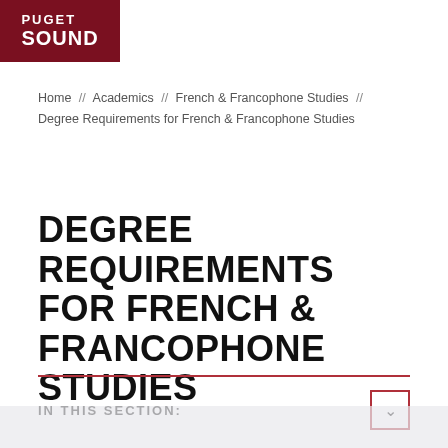[Figure (logo): University of Puget Sound logo — dark red background with white text 'PUGET SOUND']
Home // Academics // French & Francophone Studies // Degree Requirements for French & Francophone Studies
DEGREE REQUIREMENTS FOR FRENCH & FRANCOPHONE STUDIES
IN THIS SECTION: